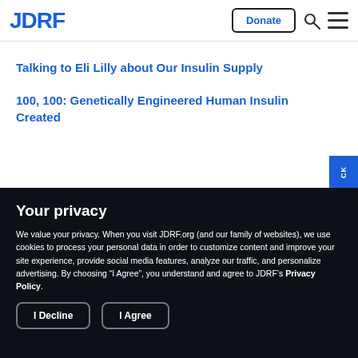[Figure (logo): JDRF logo in blue bold text with Donate button, search icon, and hamburger menu]
Talking to Eli Lilly about Our Insulin Supply
100, 100: Genetically Engineered Human Insulin Created
Your privacy
We value your privacy. When you visit JDRF.org (and our family of websites), we use cookies to process your personal data in order to customize content and improve your site experience, provide social media features, analyze our traffic, and personalize advertising. By choosing “I Agree”, you understand and agree to JDRF’s Privacy Policy.
I Decline
I Agree